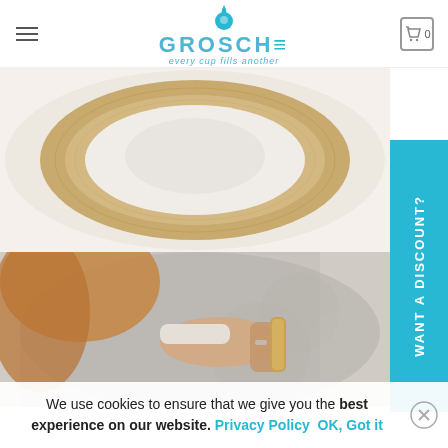[Figure (screenshot): Grosche website header with hamburger menu, Grosche logo with water drop icon and tagline 'every cup fills another', and cart icon showing 0]
[Figure (photo): Top-down view of a bamboo-trimmed travel mug or cup, showing the circular bamboo lid against a white background]
[Figure (photo): Lifestyle photo of a woman in a grey sweater holding a bamboo-handled travel mug outdoors]
[Figure (infographic): Teal sidebar tab with white vertical text reading 'WANT A DISCOUNT?']
We use cookies to ensure that we give you the best experience on our website. Privacy Policy  OK, Got it